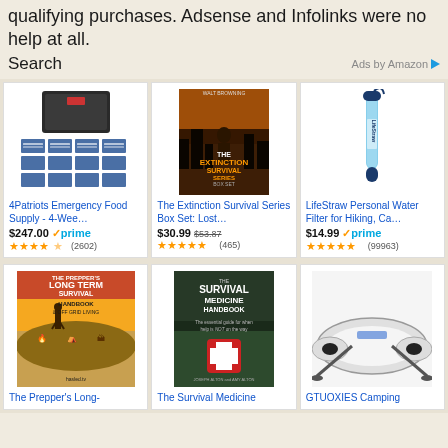qualifying purchases. Adsense and Infolinks were no help at all.
Search
Ads by Amazon
[Figure (photo): 4Patriots Emergency Food Supply storage boxes]
4Patriots Emergency Food Supply - 4-Wee…
$247.00 ✓prime ★★★★½ (2602)
[Figure (photo): The Extinction Survival Series Box Set book cover]
The Extinction Survival Series Box Set: Lost…
$30.99 $53.87 ★★★★★ (465)
[Figure (photo): LifeStraw Personal Water Filter tube product]
LifeStraw Personal Water Filter for Hiking, Ca…
$14.99 ✓prime ★★★★★ (99963)
[Figure (photo): The Prepper's Long-Term Survival Handbook book cover]
The Prepper's Long-
[Figure (photo): The Survival Medicine Handbook book cover]
The Survival Medicine
[Figure (photo): GTUOXIES Camping inflatable boat product]
GTUOXIES Camping